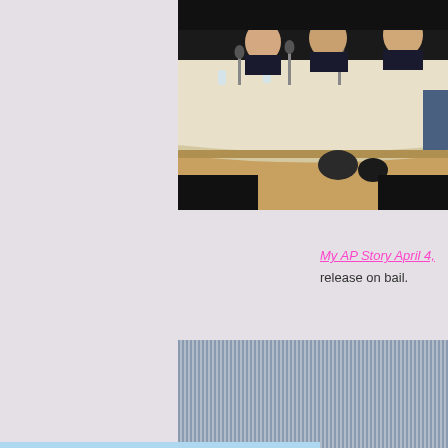[Figure (photo): People seated at a conference table on a stage with microphones, appearing to be at a press conference or formal meeting. A white tablecloth covers the table, and chairs are visible in the background.]
My AP Story April 4,
release on bail.
[Figure (other): Vertically striped pattern in grey/blue tones.]